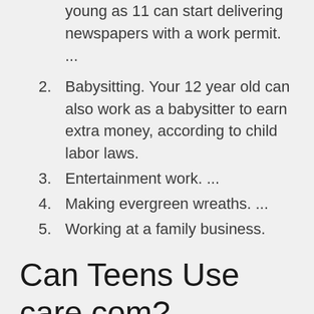young as 11 can start delivering newspapers with a work permit. ...
2. Babysitting. Your 12 year old can also work as a babysitter to earn extra money, according to child labor laws.
3. Entertainment work. ...
4. Making evergreen wreaths. ...
5. Working at a family business.
Can Teens Use care com?